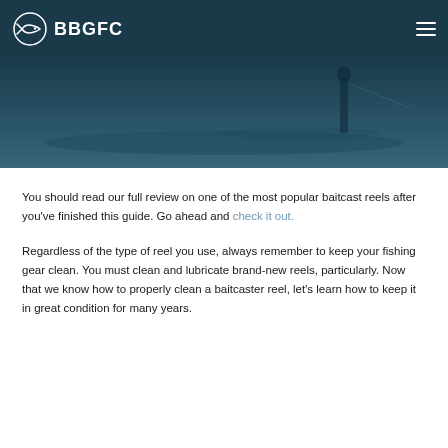BBGFC
[Figure (photo): Hero image showing a person fishing in water, dark blue-teal toned scene]
You should read our full review on one of the most popular baitcast reels after you’ve finished this guide. Go ahead and check it out.
Regardless of the type of reel you use, always remember to keep your fishing gear clean. You must clean and lubricate brand-new reels, particularly. Now that we know how to properly clean a baitcaster reel, let’s learn how to keep it in great condition for many years.